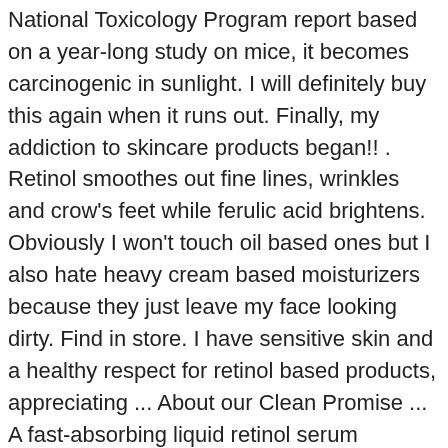National Toxicology Program report based on a year-long study on mice, it becomes carcinogenic in sunlight. I will definitely buy this again when it runs out. Finally, my addiction to skincare products began!! . Retinol smoothes out fine lines, wrinkles and crow's feet while ferulic acid brightens. Obviously I won't touch oil based ones but I also hate heavy cream based moisturizers because they just leave my face looking dirty. Find in store. I have sensitive skin and a healthy respect for retinol based products, appreciating ... About our Clean Promise ... A fast-absorbing liquid retinol serum supercharged by ferulic acid to retexture skin and visibly reduce fine lines for an instantly smoother, more even, lit-from-within glow. This the first product that I put on my face after I've washed it at the end of the night and dried it. Dr Dennis Gross Vitamin C Serum is a brown, extremely thick face serum. Find helpful customer reviews and review ratings for Dr Dennis Gross Skincare Ferulic and Retinol Triple Correction Eye Serum at Amazon.com. Like Valerie, who reviewed Dr. Dennis Gross Ferulic + Retinol Wrinkle Recovery Overnight Serum ($88 in the shop) for us